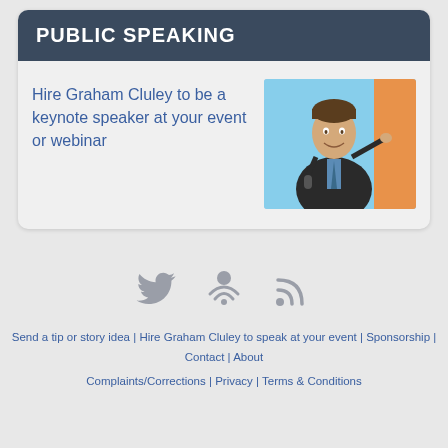PUBLIC SPEAKING
Hire Graham Cluley to be a keynote speaker at your event or webinar
[Figure (photo): Photo of Graham Cluley speaking on stage, gesturing with hand, holding microphone, blue sky and orange background visible]
[Figure (other): Social media icons: Twitter bird, podcast/speaker icon, RSS feed icon — all in grey]
Send a tip or story idea | Hire Graham Cluley to speak at your event | Sponsorship | Contact | About
Complaints/Corrections | Privacy | Terms & Conditions